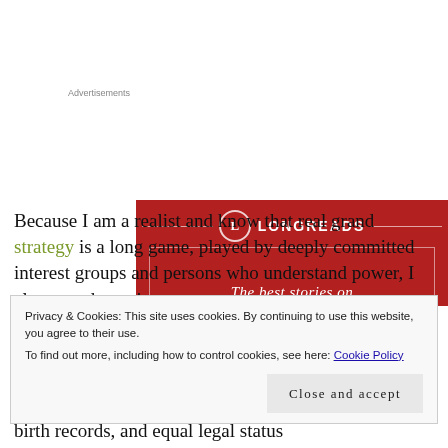[Figure (other): Longreads advertisement banner with red background, Longreads logo (circle with L), horizontal decorative lines, and tagline 'The best stories on']
Because I am a realist and know that real grand strategy is a long game, played by deeply committed interest groups and persons who understand power, I also am advocating
Privacy & Cookies: This site uses cookies. By continuing to use this website, you agree to their use.
To find out more, including how to control cookies, see here: Cookie Policy
Close and accept
birth records, and equal legal status